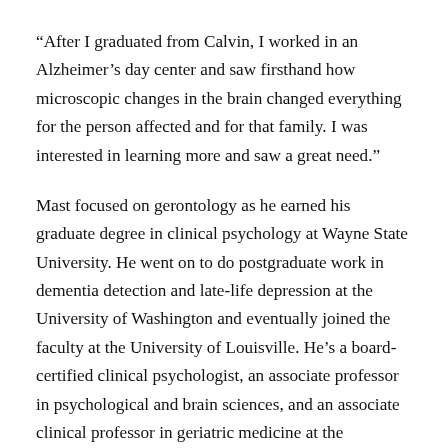“After I graduated from Calvin, I worked in an Alzheimer’s day center and saw firsthand how microscopic changes in the brain changed everything for the person affected and for that family. I was interested in learning more and saw a great need.”
Mast focused on gerontology as he earned his graduate degree in clinical psychology at Wayne State University. He went on to do postgraduate work in dementia detection and late-life depression at the University of Washington and eventually joined the faculty at the University of Louisville. He’s a board-certified clinical psychologist, an associate professor in psychological and brain sciences, and an associate clinical professor in geriatric medicine at the university.